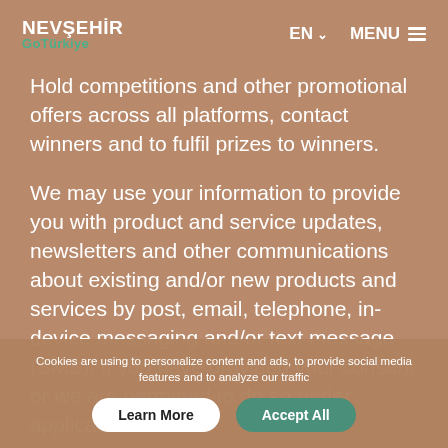NEVŞEHIR GoTürkiye — EN MENU
Hold competitions and other promotional offers across all platforms, contact winners and to fulfil prizes to winners.
We may use your information to provide you with product and service updates, newsletters and other communications about existing and/or new products and services by post, email, telephone, in-device messaging and/or text message (SMS), if you have provided your consent or we are permitted to do so under applicable law.
Cookies are using to personalize content and ads, to provide social media features and to analyze our traffic
Learn More    Accept All